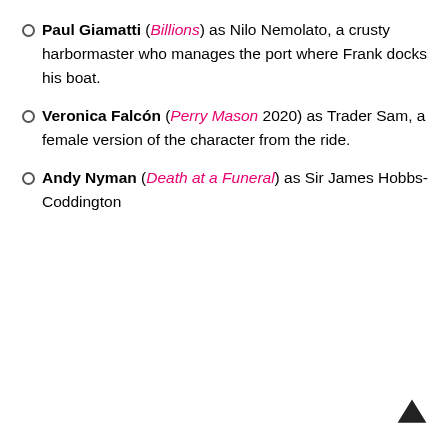Paul Giamatti (Billions) as Nilo Nemolato, a crusty harbormaster who manages the port where Frank docks his boat.
Veronica Falcón (Perry Mason 2020) as Trader Sam, a female version of the character from the ride.
Andy Nyman (Death at a Funeral) as Sir James Hobbs-Coddington